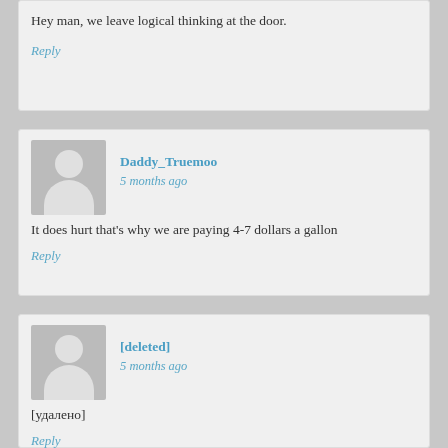Hey man, we leave logical thinking at the door.
Reply
Daddy_Truemoo says: 5 months ago
It does hurt that's why we are paying 4-7 dollars a gallon
Reply
[deleted] says: 5 months ago
[удалено]
Reply